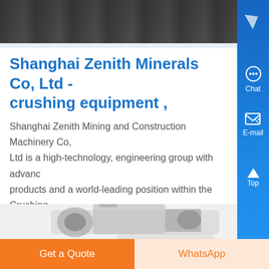[Figure (photo): Industrial machinery/factory background image at top of page]
Shanghai Zenith Minerals Co, Ltd - crushing equipment ,
Shanghai Zenith Mining and Construction Machinery Co, Ltd is a high-technology, engineering group with advanced products and a world-leading position within the Crushing,...
[Figure (photo): Crushing/industrial machine equipment photo at bottom of content area]
[Figure (infographic): Right sidebar with blue background showing Chat, E-mail icons, Top button, and close X button]